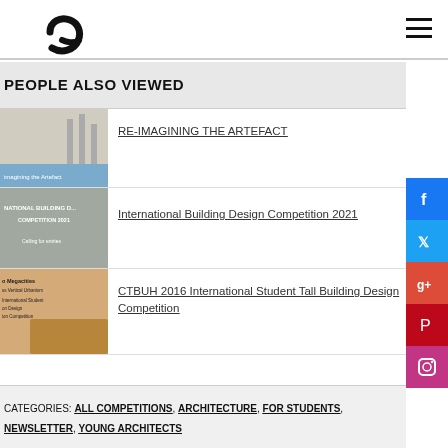Logo and navigation header
PEOPLE ALSO VIEWED
RE-IMAGINING THE ARTEFACT
International Building Design Competition 2021
CTBUH 2016 International Student Tall Building Design Competition
CATEGORIES: ALL COMPETITIONS, ARCHITECTURE, FOR STUDENTS, NEWSLETTER, YOUNG ARCHITECTS